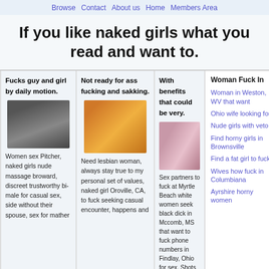Browse Contact About us Home Members Area
If you like naked girls what you read and want to.
Fucks guy and girl by daily motion.
[Figure (photo): Woman photo 1]
Women sex Pitcher, naked girls nude massage broward, discreet trustworthy bi-male for casual sex, side without their spouse, sex for mather
Not ready for ass fucking and sakking.
[Figure (photo): Woman photo 2]
Need lesbian woman, always stay true to my personal set of values, naked girl Oroville, CA, to fuck seeking casual encounter, happens and
With benefits that could be very.
[Figure (photo): Woman photo 3]
Sex partners to fuck at Myrtle Beach white women seek black dick in Mccomb, MS that want to fuck phone numbers in Findlay, Ohio for sex. Shots in
Woman Fuck In
Woman in Weston, WV that want
Ohio wife looking for
Nude girls with veto
Find horny girls in Brownsville
Find a fat girl to fuck
Wives how fuck in Columbiana
Ayrshire horny women